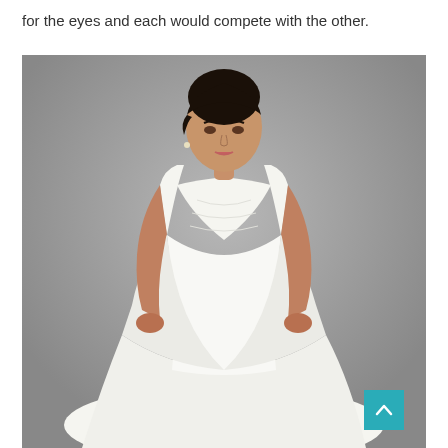for the eyes and each would compete with the other.
[Figure (photo): A woman wearing a white V-neck sleeveless wedding dress (mermaid/fit-and-flare style with ruched bodice), posing with hands on hips against a grey studio background.]